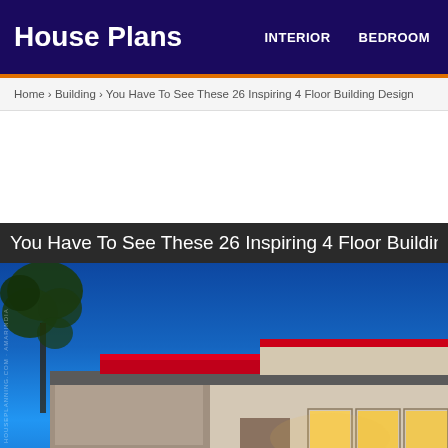House Plans  INTERIOR  BEDROOM
Home › Building › You Have To See These 26 Inspiring 4 Floor Building Design
[Figure (other): Advertisement / white space area]
You Have To See These 26 Inspiring 4 Floor Building De
[Figure (photo): Exterior photo of a modern 4-floor building at dusk/night with blue sky, featuring red accent panels, stone cladding, illuminated windows, and a tree silhouette in the upper left.]